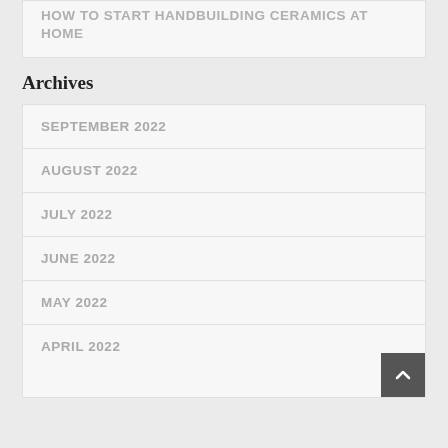HOW TO START HANDBUILDING CERAMICS AT HOME
Archives
SEPTEMBER 2022
AUGUST 2022
JULY 2022
JUNE 2022
MAY 2022
APRIL 2022